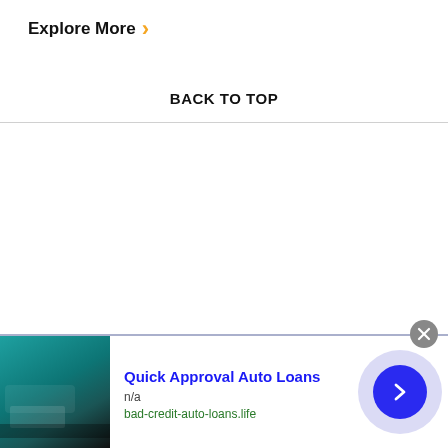Explore More ›
BACK TO TOP
[Figure (screenshot): Advertisement banner: Quick Approval Auto Loans with car image, n/a, bad-credit-auto-loans.life]
Quick Approval Auto Loans
n/a
bad-credit-auto-loans.life